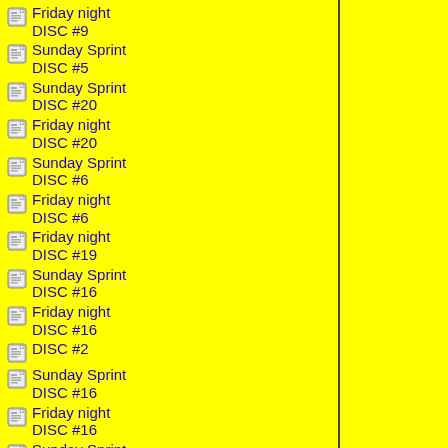Friday night DISC #9
Sunday Sprint DISC #5
Sunday Sprint DISC #20
Friday night DISC #20
Sunday Sprint DISC #6
Friday night DISC #6
Friday night DISC #19
Sunday Sprint DISC #16
Friday night DISC #16
DISC #2
Sunday Sprint DISC #16
Friday night DISC #16
Sunday Sprint DISC #18
Friday night DISC #26